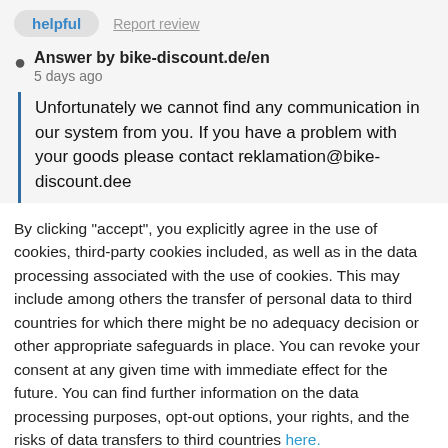helpful   Report review
Answer by bike-discount.de/en
5 days ago
Unfortunately we cannot find any communication in our system from you. If you have a problem with your goods please contact reklamation@bike-discount.dee
By clicking "accept", you explicitly agree in the use of cookies, third-party cookies included, as well as in the data processing associated with the use of cookies. This may include among others the transfer of personal data to third countries for which there might be no adequacy decision or other appropriate safeguards in place. You can revoke your consent at any given time with immediate effect for the future. You can find further information on the data processing purposes, opt-out options, your rights, and the risks of data transfers to third countries here.
ACCEPT